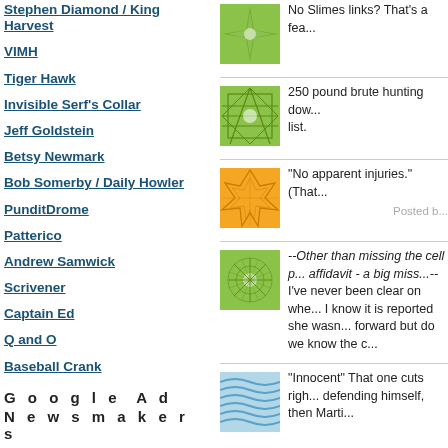Stephen Diamond / King Harvest
VIMH
Tiger Hawk
Invisible Serf's Collar
Jeff Goldstein
Betsy Newmark
Bob Somerby / Daily Howler
PunditDrome
Patterico
Andrew Samwick
Scrivener
Captain Ed
Q and O
Baseball Crank
G o o g l e   A d
N e w s m a k e r s
[Figure (illustration): Green geometric star/snowflake pattern thumbnail]
No Slimes links? That's a fea...
[Figure (illustration): Green geometric star/net pattern thumbnail]
250 pound brute hunting dow... list.
[Figure (illustration): Orange cracked/web pattern thumbnail]
"No apparent injuries." (That... Posted b...
[Figure (illustration): Green sunburst/spiral pattern thumbnail]
--Other than missing the cell p... affidavit - a big miss...--
I've never been clear on whe... I know it is reported she wasn... forward but do we know the c...
[Figure (illustration): Blue wavy lines pattern thumbnail]
"Innocent" That one cuts righ... defending himself, then Marti...